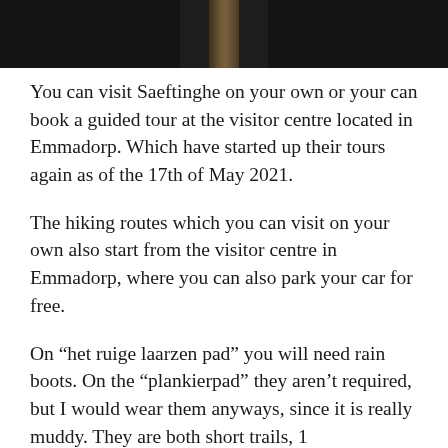[Figure (photo): Top portion of a photo showing a wooden post or signpost against a dark background, likely in a nature area. Only the bottom strip of the photo is visible.]
You can visit Saeftinghe on your own or your can book a guided tour at the visitor centre located in Emmadorp. Which have started up their tours again as of the 17th of May 2021.
The hiking routes which you can visit on your own also start from the visitor centre in Emmadorp, where you can also park your car for free.
On “het ruige laarzen pad” you will need rain boots. On the “plankierpad” they aren’t required, but I would wear them anyways, since it is really muddy. They are both short trails, 1